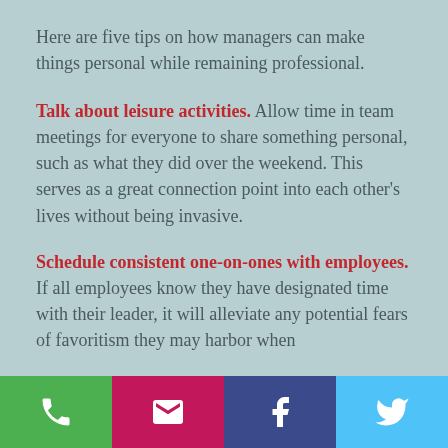Here are five tips on how managers can make things personal while remaining professional.
Talk about leisure activities. Allow time in team meetings for everyone to share something personal, such as what they did over the weekend. This serves as a great connection point into each other's lives without being invasive.
Schedule consistent one-on-ones with employees. If all employees know they have designated time with their leader, it will alleviate any potential fears of favoritism they may harbor when
Social media icons: phone, email, Facebook, Twitter